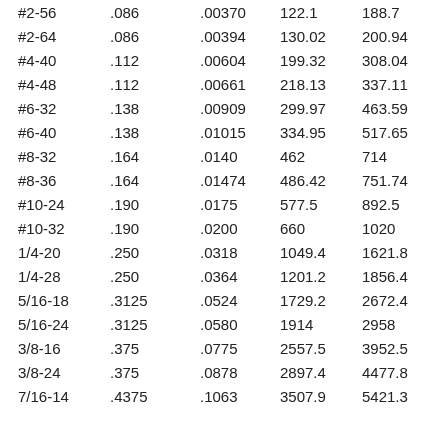| #2-56 | .086 |  | .00370 | 122.1 | 188.7 | 266.4 |
| #2-64 | .086 |  | .00394 | 130.02 | 200.94 | 283.68 |
| #4-40 | .112 |  | .00604 | 199.32 | 308.04 | 434.88 |
| #4-48 | .112 |  | .00661 | 218.13 | 337.11 | 475.92 |
| #6-32 | .138 |  | .00909 | 299.97 | 463.59 | 654.48 |
| #6-40 | .138 |  | .01015 | 334.95 | 517.65 | 730.8 |
| #8-32 | .164 |  | .0140 | 462 | 714 | 1008 |
| #8-36 | .164 |  | .01474 | 486.42 | 751.74 | 1061.28 |
| #10-24 | .190 |  | .0175 | 577.5 | 892.5 | 1260 |
| #10-32 | .190 |  | .0200 | 660 | 1020 | 1440 |
| 1/4-20 | .250 |  | .0318 | 1049.4 | 1621.8 | 2289.6 |
| 1/4-28 | .250 |  | .0364 | 1201.2 | 1856.4 | 2620.8 |
| 5/16-18 | .3125 |  | .0524 | 1729.2 | 2672.4 | 3772.8 |
| 5/16-24 | .3125 |  | .0580 | 1914 | 2958 | 4176 |
| 3/8-16 | .375 |  | .0775 | 2557.5 | 3952.5 | 5580 |
| 3/8-24 | .375 |  | .0878 | 2897.4 | 4477.8 | 6321.6 |
| 7/16-14 | .4375 |  | .1063 | 3507.9 | 5421.3 | 7653.6 |